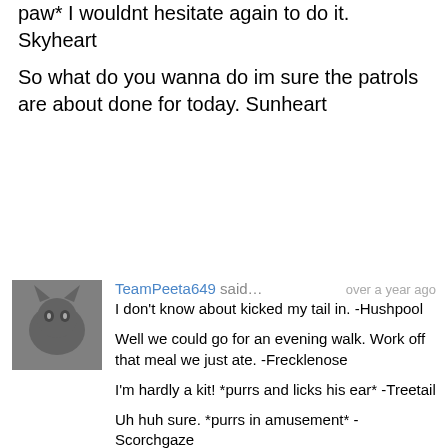paw* I wouldnt hesitate again to do it. Skyheart
So what do you wanna do im sure the patrols are about done for today. Sunheart
TeamPeeta649 said... over a year ago
I don't know about kicked my tail in. -Hushpool

Well we could go for an evening walk. Work off that meal we just ate. -Frecklenose

I'm hardly a kit! *purrs and licks his ear* -Treetail

Uh huh sure. *purrs in amusement* -Scorchgaze

Should we go check on him? -Bloodkit

I hope so. *huffs and flops over on his side* -Blackpelt